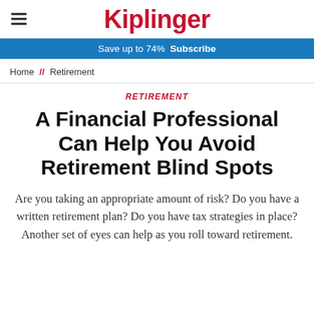Kiplinger
Save up to 74%  Subscribe
Home // Retirement
RETIREMENT
A Financial Professional Can Help You Avoid Retirement Blind Spots
Are you taking an appropriate amount of risk? Do you have a written retirement plan? Do you have tax strategies in place? Another set of eyes can help as you roll toward retirement.